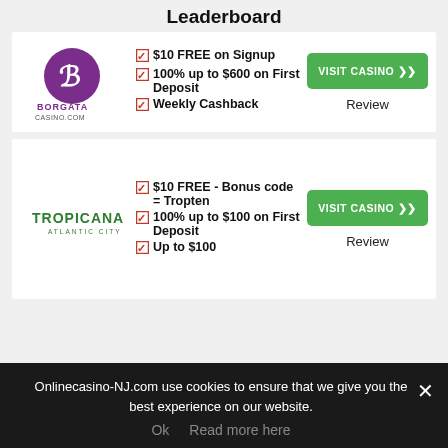Leaderboard
[Figure (logo): Borgata Casino.com purple logo with stylized B]
$10 FREE on Signup
100% up to $600 on First Deposit
Weekly Cashback
VISIT CASINO
Review
[Figure (logo): Tropicana Atlantic City green logo]
$10 FREE - Bonus code = Tropten
100% up to $100 on First Deposit
Up to $100
VISIT CASINO
Review
Onlinecasino-NJ.com use cookies to ensure that we give you the best experience on our website.
Ok   Read more here